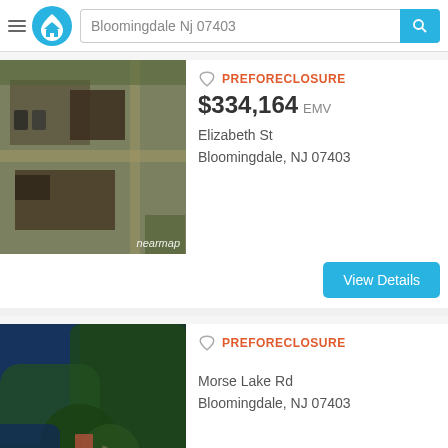Bloomingdale Nj 07403
[Figure (photo): Aerial satellite view of a property on Elizabeth St, Bloomingdale NJ, showing buildings and parking lot, nearmap watermark]
PREFORECLOSURE
$334,164 EMV
Elizabeth St
Bloomingdale, NJ 07403
[Figure (photo): Aerial satellite view of a property on Morse Lake Rd, Bloomingdale NJ, surrounded by trees and a lake]
PREFORECLOSURE
Morse Lake Rd
Bloomingdale, NJ 07403